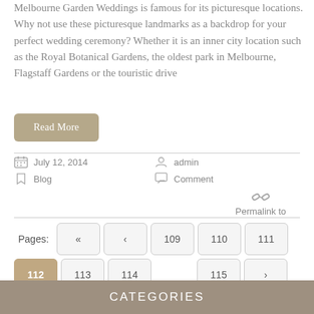Melbourne Garden Weddings is famous for its picturesque locations. Why not use these picturesque landmarks as a backdrop for your perfect wedding ceremony? Whether it is an inner city location such as the Royal Botanical Gardens, the oldest park in Melbourne, Flagstaff Gardens or the touristic drive
Read More
July 12, 2014  Blog  admin  Comment  Permalink to
Pages: « ‹ 109 110 111 112 113 114 115 ›
CATEGORIES